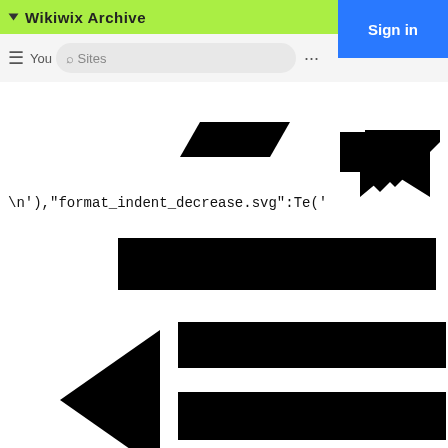▼ Wikiwix Archive
[Figure (screenshot): Browser UI bar showing menu icon, URL bar with partial text 'You', back navigation arrow icon, ellipsis dots, and a blue Sign in button]
[Figure (screenshot): A black parallelogram/chevron shape and a black arrow/chevron pointing down-left, rendered as SVG icon artifacts from a web archive]
\n'),"format_indent_decrease.svg":Te('
[Figure (screenshot): Three black horizontal bars (hamburger menu icon parts) and a black left-pointing arrow, rendered as large SVG icon elements from a web archive page]